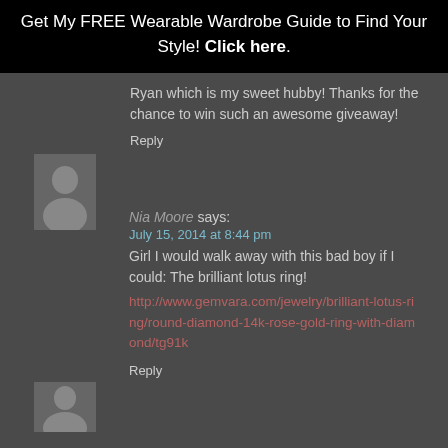Get My FREE Wearable Wardrobe Guide to Find Your Style! Click here.
Ryan which is my sweet hubby! Thanks for the chance to win such an awesome giveaway!
Reply
129. Nia Moore says:
July 15, 2014 at 8:44 pm
Girl I would walk away with this bad boy if I could: The brilliant lotus ring!
http://www.gemvara.com/jewelry/brilliant-lotus-ring/round-diamond-14k-rose-gold-ring-with-diamond/tg91k
Reply